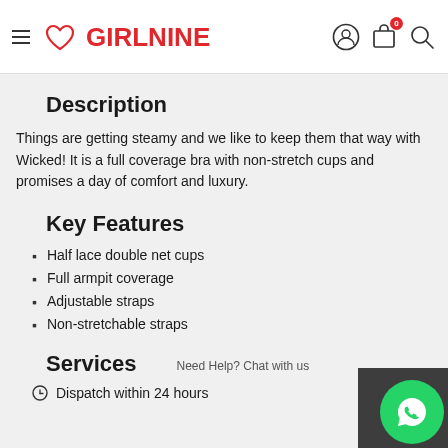GIRLNINE
Description
Things are getting steamy and we like to keep them that way with Wicked! It is a full coverage bra with non-stretch cups and promises a day of comfort and luxury.
Key Features
Half lace double net cups
Full armpit coverage
Adjustable straps
Non-stretchable straps
Services
Need Help? Chat with us
Dispatch within 24 hours